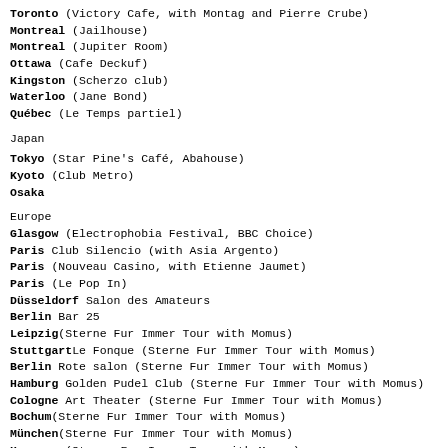Toronto (Victory Cafe, with Montag and Pierre Crube)
Montreal (Jailhouse)
Montreal (Jupiter Room)
Ottawa (Cafe Deckuf)
Kingston (Scherzo club)
Waterloo (Jane Bond)
Québec (Le Temps partiel)
Japan
Tokyo (Star Pine's Café, Abahouse)
Kyoto (Club Metro)
Osaka
Europe
Glasgow (Electrophobia Festival, BBC Choice)
Paris Club Silencio (with Asia Argento)
Paris (Nouveau Casino, with Etienne Jaumet)
Paris (Le Pop In)
Düsseldorf Salon des Amateurs
Berlin Bar 25
Leipzig(Sterne Fur Immer Tour with Momus)
StuttgartLe Fonque (Sterne Fur Immer Tour with Momus)
Berlin Rote salon (Sterne Fur Immer Tour with Momus)
Hamburg Golden Pudel Club (Sterne Fur Immer Tour with Momus)
Cologne Art Theater (Sterne Fur Immer Tour with Momus)
Bochum(Sterne Fur Immer Tour with Momus)
München(Sterne Fur Immer Tour with Momus)
Hannover(Sterne Fur Immer Tour with Momus)
London ICA
London Madame Jojo
Marseille Le Poste à Galène
Marseille Le Talgo